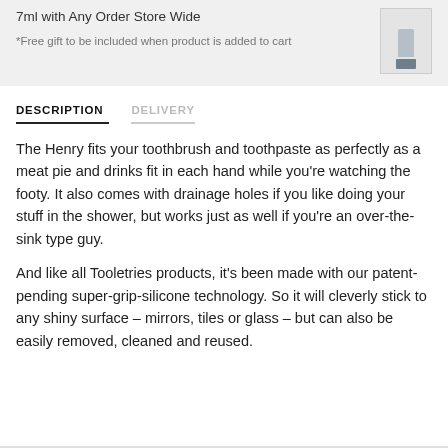7ml with Any Order Store Wide
*Free gift to be included when product is added to cart
DESCRIPTION  DELIVERY
The Henry fits your toothbrush and toothpaste as perfectly as a meat pie and drinks fit in each hand while you're watching the footy. It also comes with drainage holes if you like doing your stuff in the shower, but works just as well if you're an over-the-sink type guy.
And like all Tooletries products, it's been made with our patent-pending super-grip-silicone technology. So it will cleverly stick to any shiny surface – mirrors, tiles or glass – but can also be easily removed, cleaned and reused.